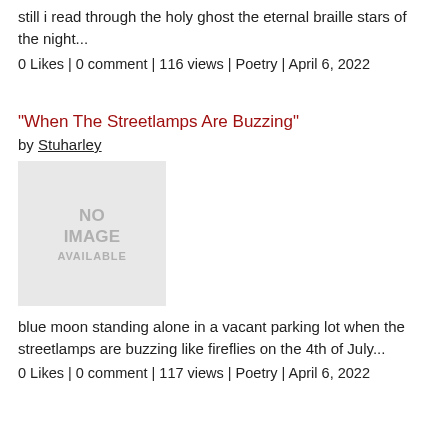still i read through the holy ghost the eternal braille stars of the night...
0 Likes | 0 comment | 116 views | Poetry | April 6, 2022
"When The Streetlamps Are Buzzing"
by Stuharley
[Figure (other): No image available placeholder box]
blue moon standing alone in a vacant parking lot when the streetlamps are buzzing like fireflies on the 4th of July...
0 Likes | 0 comment | 117 views | Poetry | April 6, 2022